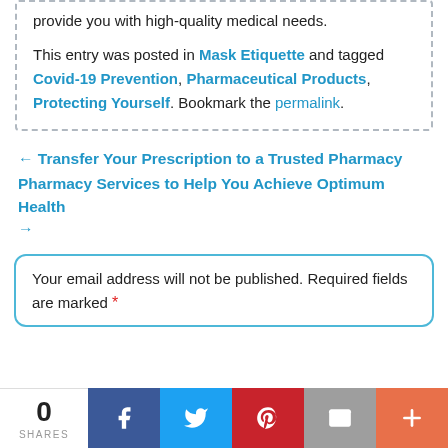provide you with high-quality medical needs.
This entry was posted in Mask Etiquette and tagged Covid-19 Prevention, Pharmaceutical Products, Protecting Yourself. Bookmark the permalink.
← Transfer Your Prescription to a Trusted Pharmacy
Pharmacy Services to Help You Achieve Optimum Health →
Your email address will not be published. Required fields are marked *
[Figure (infographic): Social share bar at bottom: 0 SHARES, Facebook, Twitter, Pinterest, Email, More (+) buttons]